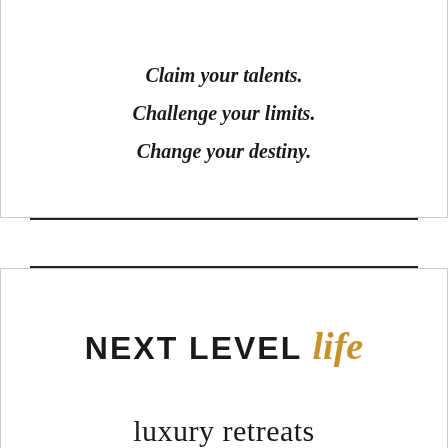Claim your talents.
Challenge your limits.
Change your destiny.
NEXT LEVEL life
luxury retreats